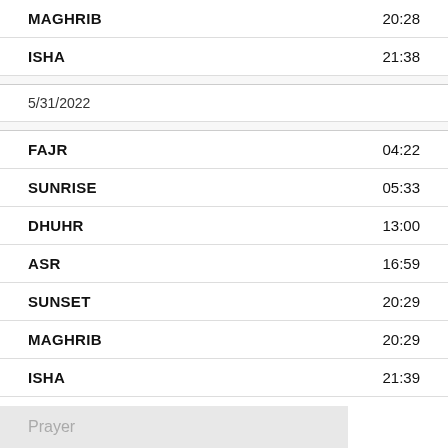MAGHRIB  20:28
ISHA  21:38
5/31/2022
FAJR  04:22
SUNRISE  05:33
DHUHR  13:00
ASR  16:59
SUNSET  20:29
MAGHRIB  20:29
ISHA  21:39
Prayer